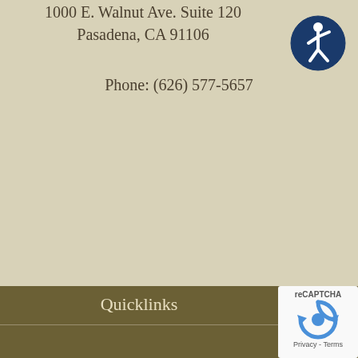1000 E. Walnut Ave. Suite 120
Pasadena, CA 91106
Phone: (626) 577-5657
[Figure (illustration): Accessibility icon: blue circle with white stylized human figure in motion]
Quicklinks
[Figure (logo): reCAPTCHA widget box with rotating arrows logo and Privacy - Terms text]